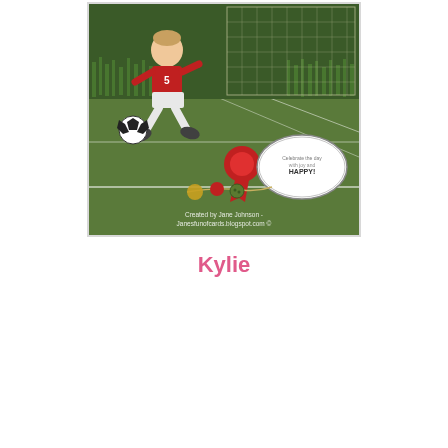[Figure (photo): A handmade craft card or scene depicting a soccer/football theme. A cartoon child figurine wearing a red jersey with number 5 and white shorts is posed kicking a black and white soccer ball on a green felt/paper field. Paper grass cutouts line the back edge with a wire net goal frame. In the foreground are decorative elements: a red ribbon/rosette award, an oval stamped tag reading 'HAPPY!', and small charm embellishments on a string. The bottom of the image has a watermark reading 'Created by Jane Johnson - Janesfunofcards.blogspot.com'.]
Kylie